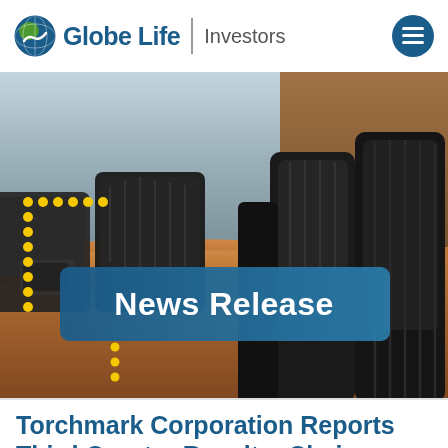Globe Life | Investors
[Figure (photo): Boardroom with leather chairs around a wooden conference table, with a 'News Release' banner overlay and yellow dotted decoration element]
Torchmark Corporation Reports Third Quarter Results: Chairman of the